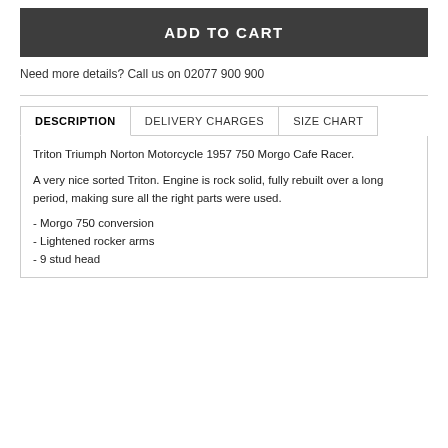ADD TO CART
Need more details? Call us on 02077 900 900
DESCRIPTION
DELIVERY CHARGES
SIZE CHART
Triton Triumph Norton Motorcycle 1957 750 Morgo Cafe Racer.
A very nice sorted Triton. Engine is rock solid, fully rebuilt over a long period, making sure all the right parts were used.
- Morgo 750 conversion
- Lightened rocker arms
- 9 stud head